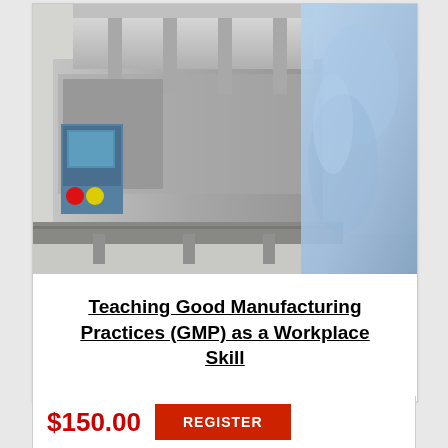[Figure (photo): Pharmaceutical manufacturing facility showing stainless steel filling/packaging machinery with a worker in blue cleanroom gown in the background]
Teaching Good Manufacturing Practices (GMP) as a Workplace Skill
$150.00
REGISTER